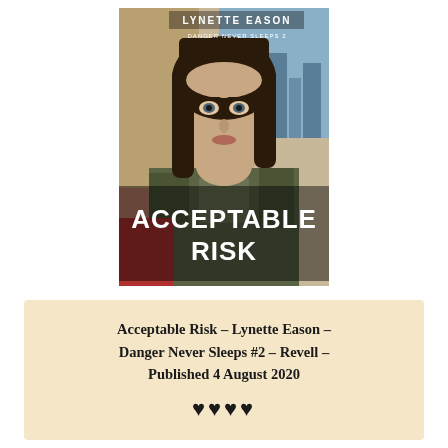[Figure (photo): Book cover of 'Acceptable Risk' by Lynette Eason, Danger Never Sleeps #2. Shows a young woman with dark hair in the foreground, wearing camouflage, with city and desert backgrounds. Title 'ACCEPTABLE RISK' in large white letters at the bottom.]
Acceptable Risk – Lynette Eason – Danger Never Sleeps #2 – Revell – Published 4 August 2020
♥♥♥♥